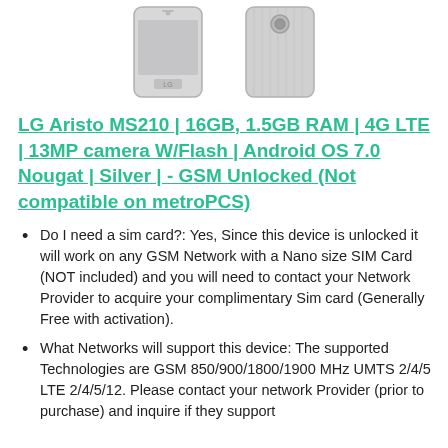[Figure (photo): Product photo showing LG Aristo MS210 smartphone from front and back, silver color, against white background]
LG Aristo MS210 | 16GB, 1.5GB RAM | 4G LTE | 13MP camera W/Flash | Android OS 7.0 Nougat | Silver | - GSM Unlocked (Not compatible on metroPCS)
Do I need a sim card?: Yes, Since this device is unlocked it will work on any GSM Network with a Nano size SIM Card (NOT included) and you will need to contact your Network Provider to acquire your complimentary Sim card (Generally Free with activation).
What Networks will support this device: The supported Technologies are GSM 850/900/1800/1900 MHz UMTS 2/4/5 LTE 2/4/5/12. Please contact your network Provider (prior to purchase) and inquire if they support